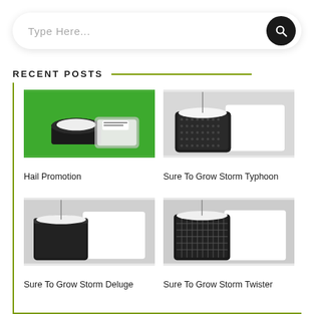Type Here...
RECENT POSTS
[Figure (photo): Photo of white pellets/hail in a black mesh pot against a green background with a plastic bag of white material]
Hail Promotion
[Figure (photo): Photo of a black mesh net cup/pot with a white foam insert and wire, showing Sure To Grow Storm Typhoon product]
Sure To Grow Storm Typhoon
[Figure (photo): Photo of a black bucket with a white foam insert and wire, showing Sure To Grow Storm Deluge product]
Sure To Grow Storm Deluge
[Figure (photo): Photo of a black mesh net cup/pot with a white foam insert and wire, showing Sure To Grow Storm Twister product]
Sure To Grow Storm Twister